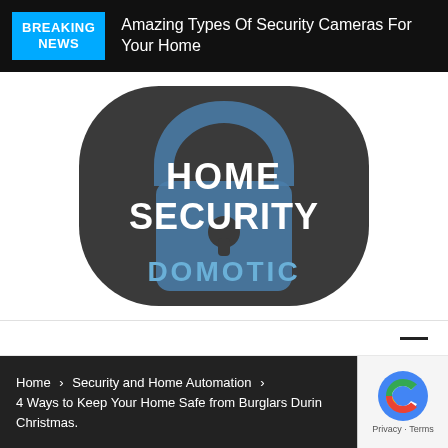BREAKING NEWS — Amazing Types Of Security Cameras For Your Home
[Figure (logo): Home Security Domotic logo: dark circular background with a blue padlock icon and bold white text reading HOME SECURITY, with DOMOTIC in blue below]
Home > Security and Home Automation > 4 Ways to Keep Your Home Safe from Burglars During Christmas.